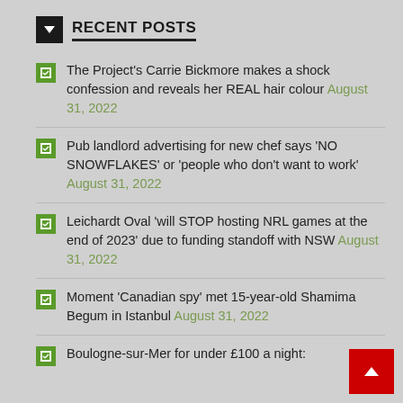RECENT POSTS
The Project's Carrie Bickmore makes a shock confession and reveals her REAL hair colour August 31, 2022
Pub landlord advertising for new chef says 'NO SNOWFLAKES' or 'people who don't want to work' August 31, 2022
Leichardt Oval 'will STOP hosting NRL games at the end of 2023' due to funding standoff with NSW August 31, 2022
Moment 'Canadian spy' met 15-year-old Shamima Begum in Istanbul August 31, 2022
Boulogne-sur-Mer for under £100 a night: